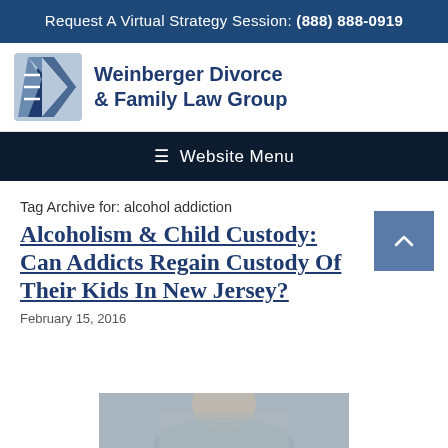Request A Virtual Strategy Session: (888) 888-0919
[Figure (logo): Weinberger Divorce & Family Law Group logo with stylized W icon and text]
☰ Website Menu
Tag Archive for: alcohol addiction
Alcoholism & Child Custody: Can Addicts Regain Custody Of Their Kids In New Jersey?
February 15, 2016
[Figure (photo): Partial photo of a person, cropped at bottom of page]